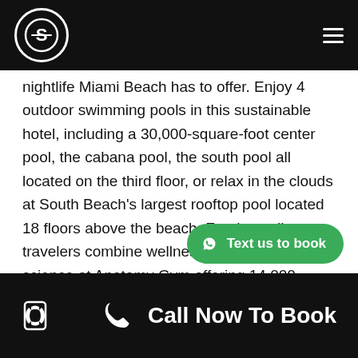[Logo and navigation bar]
nightlife Miami Beach has to offer. Enjoy 4 outdoor swimming pools in this sustainable hotel, including a 30,000-square-foot center pool, the cabana pool, the south pool all located on the third floor, or relax in the clouds at South Beach's largest rooftop pool located 18 floors above the beach. For the wellness travelers combine wellness, sports, and science at Anatomy Gym offering 14,000 square ft of fitness space including mindfulness and movement classes. Indulge in relaxation with the first U.S. Bamford Haybarn Spa equipped with a sauna, a spa tub, and a steam room, and enjoy a f... wellness center offering a variety of treatment
[Figure (other): Green WhatsApp button with text 'Text us to book']
Call Now To Book